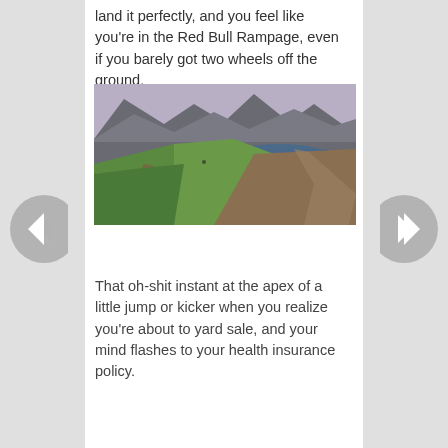land it perfectly, and you feel like you're in the Red Bull Rampage, even if you barely got two wheels off the ground.
[Figure (photo): Mountain landscape with green hills, rocky peaks, a lake in the background, and a dirt trail winding through the terrain. Taken at dusk or dawn with purple-grey sky.]
That oh-shit instant at the apex of a little jump or kicker when you realize you're about to yard sale, and your mind flashes to your health insurance policy.